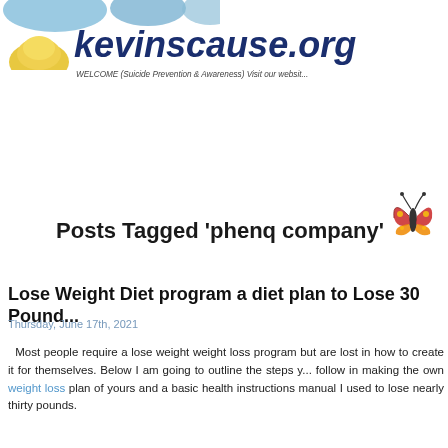[Figure (illustration): Decorative watercolor-style blue/teal shapes at the top left of the page header]
kevinscause.org — WELCOME (Suicide Prevention & Awareness) Visit our website
[Figure (illustration): Yellow hill/mound illustration used as logo graphic next to the site name]
[Figure (illustration): Colorful cartoon butterfly illustration near the Posts Tagged heading]
Posts Tagged 'phenq company'
Lose Weight Diet program a diet plan to Lose 30 Pounds
Thursday, June 17th, 2021
Most people require a lose weight weight loss program but are lost in how to create it for themselves. Below I am going to outline the steps you follow in making the own weight loss plan of yours and a basic health instructions manual I used to lose nearly thirty pounds.